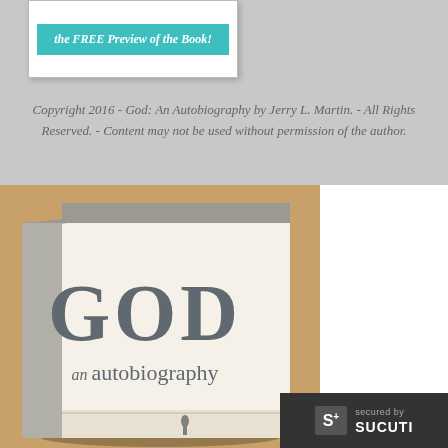[Figure (other): Teal/turquoise button with italic text 'the FREE Preview of the Book!' on a white card with shadow]
Copyright 2016 - God: An Autobiography by Jerry L. Martin. - All Rights Reserved. - Content may not be used without permission of the author.
[Figure (photo): Book cover of 'God: An Autobiography' by Jerry L. Martin showing a white hardcover book with large grey 'GOD' text and 'an autobiography' subtitle, set against a warm tan/brown background]
[Figure (logo): Sucuri security badge with 'secured by SUCURI' text and S+ logo on dark background]